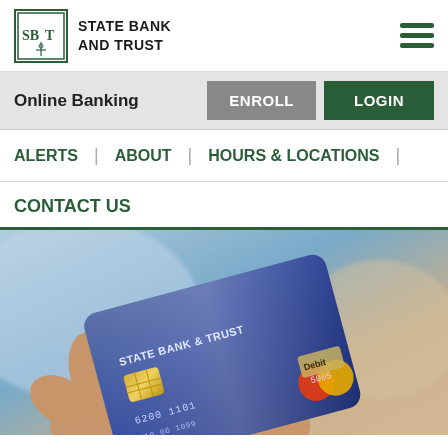[Figure (logo): State Bank and Trust logo with SBT initials in green bordered box]
STATE BANK AND TRUST
Online Banking  ENROLL  LOGIN
ALERTS  |  ABOUT  |  HOURS & LOCATIONS  |
CONTACT US
[Figure (photo): Hand holding a State Bank & Trust branded blue debit/credit card with Mastercard logo]